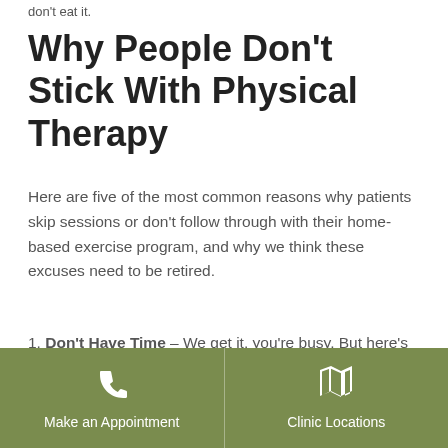don't eat it.
Why People Don't Stick With Physical Therapy
Here are five of the most common reasons why patients skip sessions or don't follow through with their home-based exercise program, and why we think these excuses need to be retired.
Don't Have Time – We get it, you're busy. But here's the thing, everyone is busy. We're all
Make an Appointment | Clinic Locations